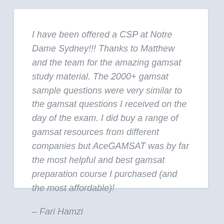I have been offered a CSP at Notre Dame Sydney!!! Thanks to Matthew and the team for the amazing gamsat study material. The 2000+ gamsat sample questions were very similar to the gamsat questions I received on the day of the exam. I did buy a range of gamsat resources from different companies but AceGAMSAT was by far the most helpful and best gamsat preparation course I purchased (and the most affordable)!
– Fari Hamzi